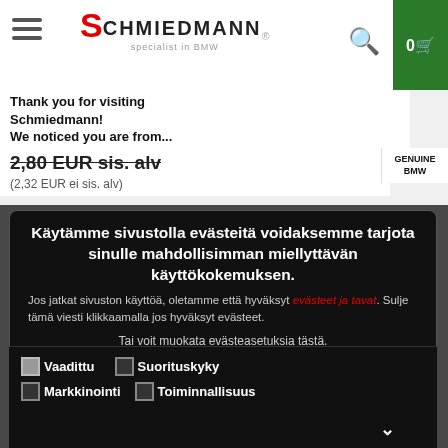[Figure (screenshot): Schmiedmann website header with hamburger menu, logo, search icon, and green cart button showing 0]
Thank you for visiting Schmiedmann! We noticed you are from...
2,80 EUR sis. alv (2,32 EUR ei sis. alv)
GENUINE BMW
Käytämme sivustolla evästeitä voidaksemme tarjota sinulle mahdollisimman miellyttävän käyttökokemuksen.
Jos jatkat sivuston käyttöä, oletamme että hyväksyt evästeet ja tavat. Sulje tämä viesti klikkaamalla jos hyväksyt evästeet.
Tai voit muokata evästeasetuksia tästä.
Salli kaikki evästeet
Salli valitut evästeet
Vaadittu   Suorituskyky   Näytä yksityiskohdat
Markkinointi   Toiminnallisuus